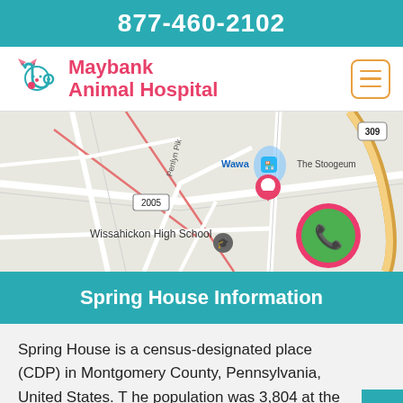877-460-2102
Maybank Animal Hospital
[Figure (map): Google Maps view showing area around Maybank Animal Hospital in Spring House, PA. Landmarks visible include Wissahickon High School, Wawa, The Stoogeum, road 2005, route 309, Penlyn Pike, and N Bethlehem Ave. A green phone button with pink border is overlaid on the map.]
Spring House Information
Spring House is a census-designated place (CDP) in Montgomery County, Pennsylvania, United States. The population was 3,804 at the 2010 census.